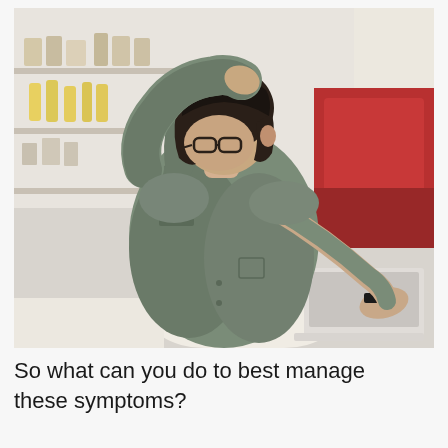[Figure (photo): A person with glasses sneezing or coughing into their elbow/arm while seated at a table with a laptop, in what appears to be a cafe or shop setting with shelves and bottles in the background. The person is wearing a sage green jacket.]
So what can you do to best manage these symptoms?